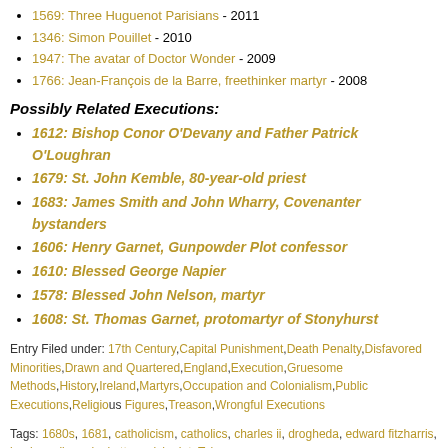1569: Three Huguenot Parisians - 2011
1346: Simon Pouillet - 2010
1947: The avatar of Doctor Wonder - 2009
1766: Jean-François de la Barre, freethinker martyr - 2008
Possibly Related Executions:
1612: Bishop Conor O'Devany and Father Patrick O'Loughran
1679: St. John Kemble, 80-year-old priest
1683: James Smith and John Wharry, Covenanter bystanders
1606: Henry Garnet, Gunpowder Plot confessor
1610: Blessed George Napier
1578: Blessed John Nelson, martyr
1608: St. Thomas Garnet, protomartyr of Stonyhurst
Entry Filed under: 17th Century, Capital Punishment, Death Penalty, Disfavored Minorities, Drawn and Quartered, England, Execution, Gruesome Methods, History, Ireland, Martyrs, Occupation and Colonialism, Public Executions, Religious Figures, Treason, Wrongful Executions
Tags: 1680s, 1681, catholicism, catholics, charles ii, drogheda, edward fitzharris, london, oliver plunkett, popish plot, Tyburn
Leave a Reply
Your email address will not be published. Required fields are marked *
Comment